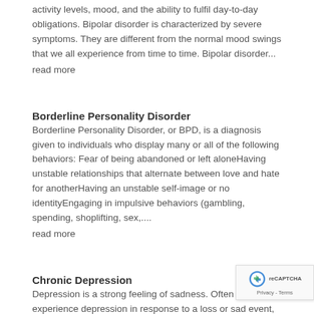activity levels, mood, and the ability to fulfil day-to-day obligations. Bipolar disorder is characterized by severe symptoms. They are different from the normal mood swings that we all experience from time to time. Bipolar disorder... read more
Borderline Personality Disorder
Borderline Personality Disorder, or BPD, is a diagnosis given to individuals who display many or all of the following behaviors: Fear of being abandoned or left aloneHaving unstable relationships that alternate between love and hate for anotherHaving an unstable self-image or no identityEngaging in impulsive behaviors (gambling, spending, shoplifting, sex,... read more
Chronic Depression
Depression is a strong feeling of sadness. Often people experience depression in response to a loss or sad event, such as divorce or unemployment. However, if the strong feelings or deep disappointment and loss of interest in activities...